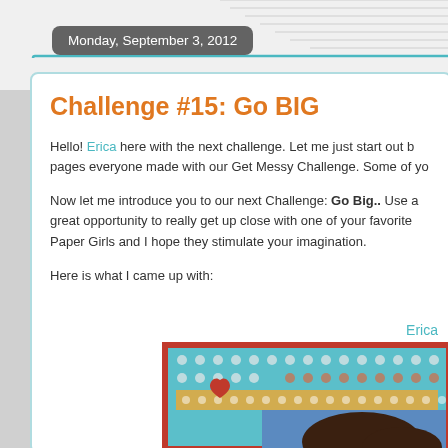Monday, September 3, 2012
Challenge #15: Go BIG
Hello! Erica here with the next challenge. Let me just start out b... pages everyone made with our Get Messy Challenge. Some of yo...
Now let me introduce you to our next Challenge: Go Big.. Use a great opportunity to really get up close with one of your favorite Paper Girls and I hope they stimulate your imagination.
Here is what I came up with:
Erica
[Figure (photo): Craft scrapbook layout with colorful patterned paper borders, polka dot prints in teal, orange, red, and blue, with a partial photo of a child visible at the bottom right.]